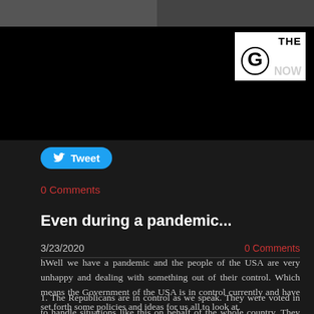[Figure (screenshot): Video thumbnail showing two people at top, black background with 'THE G NOW' logo in white box at top right]
Tweet
0 Comments
Even during a pandemic...
3/23/2020
0 Comments
hWell we have a pandemic and the people of the USA are very unhappy and dealing with something out of their control. Which means the Government of the USA is in control currently and have set forth some policies and ideas for us all to look at.
1. The Republicans are in control as we speak. They were voted in to handle situations like this on behalf of the whole country. They are really good at smoke and mirrors as we found out with a full month of joking around about the Covid-19 virus to the American